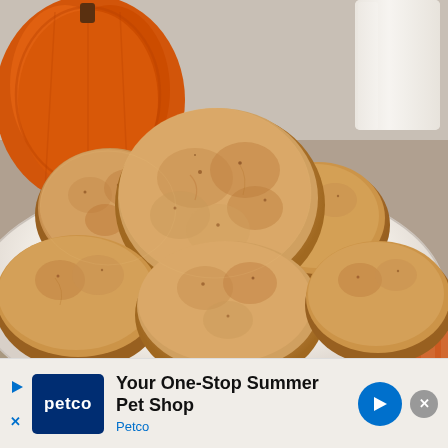[Figure (photo): Close-up photo of pumpkin snickerdoodle cookies stacked on a white plate. In the background is an orange ceramic pumpkin decoration, a glass of milk, and an orange-striped napkin on a wooden surface.]
[Figure (infographic): Advertisement banner for Petco: 'Your One-Stop Summer Pet Shop' with Petco logo, play button icon, X icon, blue arrow button, and close (X) button.]